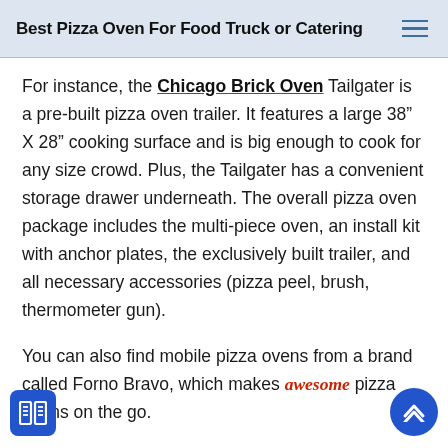Best Pizza Oven For Food Truck or Catering
For instance, the Chicago Brick Oven Tailgater is a pre-built pizza oven trailer. It features a large 38" X 28" cooking surface and is big enough to cook for any size crowd. Plus, the Tailgater has a convenient storage drawer underneath. The overall pizza oven package includes the multi-piece oven, an install kit with anchor plates, the exclusively built trailer, and all necessary accessories (pizza peel, brush, thermometer gun).
You can also find mobile pizza ovens from a brand called Forno Bravo, which makes awesome pizza ovens on the go.